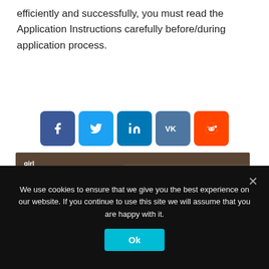efficiently and successfully, you must read the Application Instructions carefully before/during application process.
[Figure (infographic): Social media share buttons: Facebook, Twitter, LinkedIn, VK, Reddit]
[Figure (infographic): Girl Up Scholarship Fund promotional image showing young women raising hands. Text: GIRL UP SCHOLARSHIP FUND, Apply for the Girl Up Scholarship Fund, Applications will open April 15 and close May 17, 2021.]
We use cookies to ensure that we give you the best experience on our website. If you continue to use this site we will assume that you are happy with it.